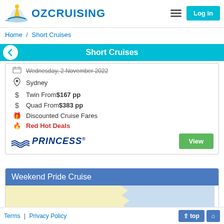OZCRUISING — Log in
Home / Short Cruises
Short Cruises
Wednesday, 2 November 2022
Sydney
Twin From $167 pp
Quad From $383 pp
Discounted Cruise Fares
Red Hot Deals
[Figure (logo): Princess Cruises logo]
Weekend Pride Cruise
[Figure (map): Partial map image showing land (yellow) and water (light blue) — cruise route area]
Terms | Privacy Policy  top  home